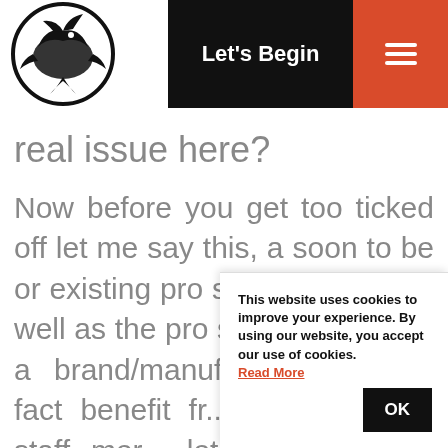[Figure (logo): Circular logo with bird/animal silhouette illustration, black and white]
Let's Begin
real issue here?
Now before you get too ticked off let me say this, a soon to be or existing pro staff member, as well as the pro staff manager of a brand/manufacturer, will in fact benefit fr... pro staff m... staff me... let's just say I'm someone that
This website uses cookies to improve your experience. By using our website, you accept our use of cookies. Read More